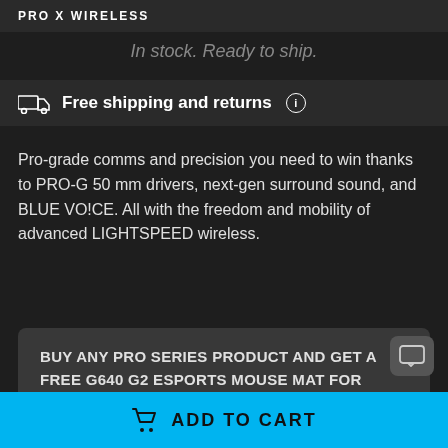PRO X WIRELESS
In stock. Ready to ship.
Free shipping and returns ⓘ
Pro-grade comms and precision you need to win thanks to PRO-G 50 mm drivers, next-gen surround sound, and BLUE VO!CE. All with the freedom and mobility of advanced LIGHTSPEED wireless.
BUY ANY PRO SERIES PRODUCT AND GET A FREE G640 G2 ESPORTS MOUSE MAT FOR FREE, WORTH 39.99€
ADD TO CART